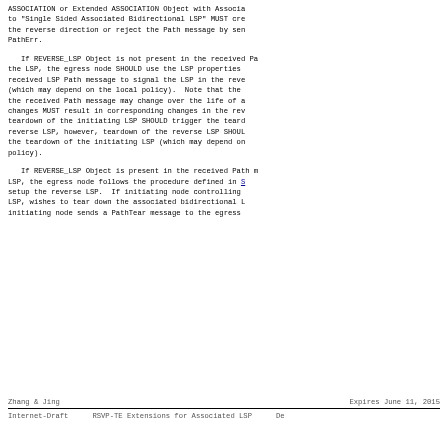ASSOCIATION or Extended ASSOCIATION Object with Associa to "Single Sided Associated Bidirectional LSP" MUST cre the reverse direction or reject the Path message by sen PathErr.
If REVERSE_LSP Object is not present in the received Pa the LSP, the egress node SHOULD use the LSP properties received LSP Path message to signal the LSP in the reve (which may depend on the local policy).  Note that the the received Path message may change over the life of a changes MUST result in corresponding changes in the rev teardown of the initiating LSP SHOULD trigger the teard reverse LSP, however, teardown of the reverse LSP SHOUL the teardown of the initiating LSP (which may depend on policy).
If REVERSE_LSP Object is present in the received Path m LSP, the egress node follows the procedure defined in S setup the reverse LSP.  If initiating node controlling LSP, wishes to tear down the associated bidirectional L initiating node sends a PathTear message to the egress
Zhang & Jing                    Expires June 11, 2015
Internet-Draft      RSVP-TE Extensions for Associated LSP   De